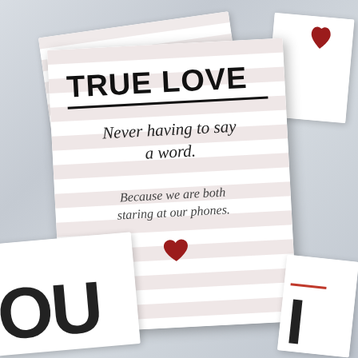[Figure (photo): A photo of multiple greeting cards scattered on a marble surface. The central card has pink-beige stripes and reads 'TRUE LOVE / Never having to say a word. / Because we are both staring at our phones.' with a red heart. Other cards are partially visible around it.]